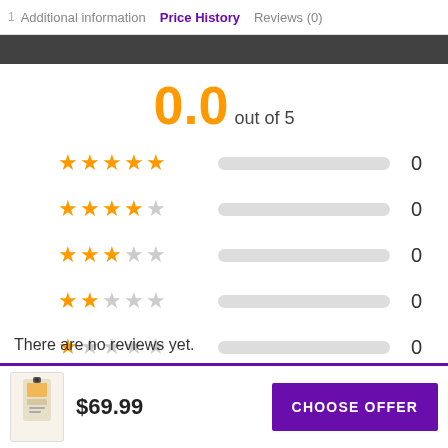Additional information | Price History | Reviews (0)
0.0 out of 5
[Figure (infographic): Star rating breakdown: 5 stars 0, 4 stars 0, 3 stars 0, 2 stars 0, 1 star 0, all bars empty]
WRITE A REVIEW
There are no reviews yet.
$69.99  CHOOSE OFFER